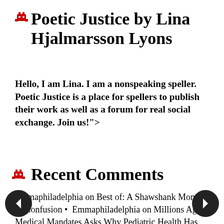Poetic Justice by Lina Hjalmarsson Lyons
Hello, I am Lina. I am a nonspeaking speller. Poetic Justice is a place for spellers to publish their work as well as a forum for real social exchange. Join us!">
Recent Comments
Emmaphiladelphia on Best of: A Shawshank Moment of Confusion •  Emmaphiladelphia on Millions Against Medical Mandates Asks Why Pediatric Health Has Plunged •  Emmaphiladelphia on Tomorrow's Child Today •  Anonymous on Tomorrow's Child Today •  Emmaphiladelphia on 15 Week Course on How Pharmaceutical Vaccine Liability Falls to the Consumer Courtesy of Uncle Sam •  Emmaphiladelphia on 15 Week Course on How Pharmaceutical Vaccine Liability Falls to the Consumer Courtesy of Uncle Sam •